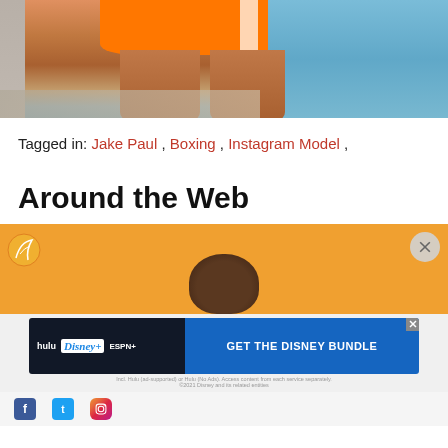[Figure (photo): Cropped photo of a person wearing an orange mini skirt near a pool, showing legs and lower torso]
Tagged in: Jake Paul , Boxing , Instagram Model ,
Around the Web
[Figure (photo): Web content recommendation block showing a person's head against an orange background]
[Figure (other): Disney Bundle advertisement: Hulu, Disney+, ESPN+ - GET THE DISNEY BUNDLE. Incl. Hulu (ad-supported) or Hulu (No Ads). Access content from each service separately. ©2021 Disney and its related entities]